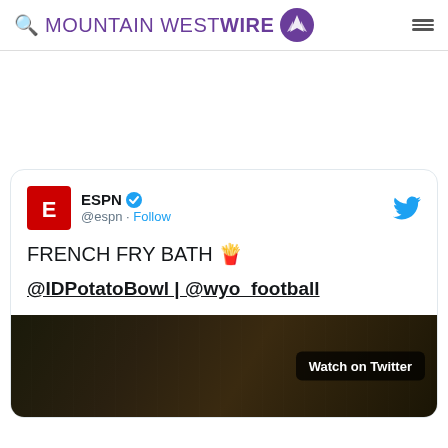Mountain West Wire
[Figure (screenshot): Embedded tweet from ESPN (@espn) showing text 'FRENCH FRY BATH 🍟' and '@IDPotatoBowl | @wyo_football' with a video thumbnail showing football players and a 'Watch on Twitter' badge.]